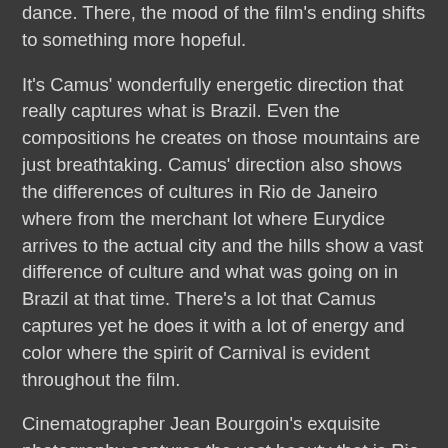dance. There, the mood of the film's ending shifts to something more hopeful.
It's Camus' wonderfully energetic direction that really captures what is Brazil. Even the compositions he creates on those mountains are just breathtaking. Camus' direction also shows the differences of cultures in Rio de Janeiro where from the merchant lot where Eurydice arrives to the actual city and the hills show a vast difference of culture and what was going on in Brazil at that time. There's a lot that Camus captures yet he does it with a lot of energy and color where the spirit of Carnival is evident throughout the film.
Cinematographer Jean Bourgoin's exquisite photography captures the vast beauty that is Rio from the mountain shots overlooking the city to the sunrise/sunset shots in a few sequences. Bourgoin's photography is one of the film's real highlights for its colorful photography that captures the spirit of Carnival. Production designer Pierre Guffroy does wonderful work in creating the float of the Carnival and costumes that plays an important part of the film. Editor Andree Feix does some excellent work in the editing to